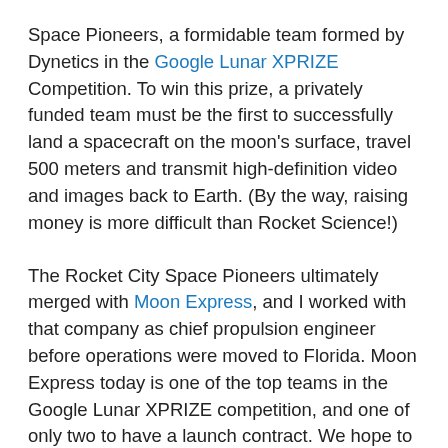Space Pioneers, a formidable team formed by Dynetics in the Google Lunar XPRIZE Competition. To win this prize, a privately funded team must be the first to successfully land a spacecraft on the moon's surface, travel 500 meters and transmit high-definition video and images back to Earth. (By the way, raising money is more difficult than Rocket Science!)
The Rocket City Space Pioneers ultimately merged with Moon Express, and I worked with that company as chief propulsion engineer before operations were moved to Florida. Moon Express today is one of the top teams in the Google Lunar XPRIZE competition, and one of only two to have a launch contract. We hope to see the “Spirit of Alabama” land by 2018.
Recently, I founded Pickens Innovations, Inc., to deliver